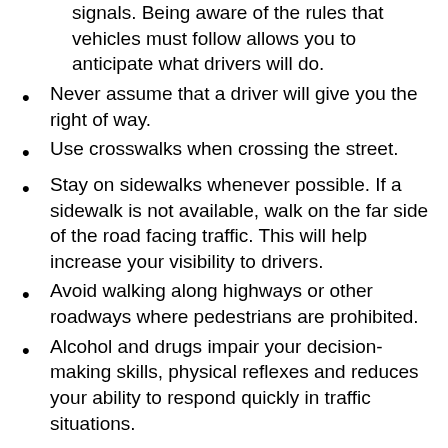signals.  Being aware of the rules that vehicles must follow allows you to anticipate what drivers will do.
Never assume that a driver will give you the right of way.
Use crosswalks when crossing the street.
Stay on sidewalks whenever possible. If a sidewalk is not available, walk on the far side of the road facing traffic. This will help increase your visibility to drivers.
Avoid walking along highways or other roadways where pedestrians are prohibited.
Alcohol and drugs impair your decision-making skills, physical reflexes and reduces your ability to respond quickly in traffic situations.